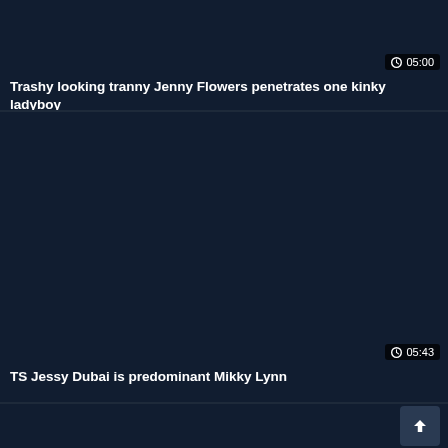[Figure (screenshot): Dark thumbnail card for video: Trashy looking tranny Jenny Flowers penetrates one kinky ladyboy, duration 05:00]
Trashy looking tranny Jenny Flowers penetrates one kinky ladyboy
[Figure (screenshot): Dark thumbnail card for video: TS Jessy Dubai is predominant Mikky Lynn, duration 05:43]
TS Jessy Dubai is predominant Mikky Lynn
[Figure (screenshot): Dark thumbnail card, partially visible, with scroll-to-top button]